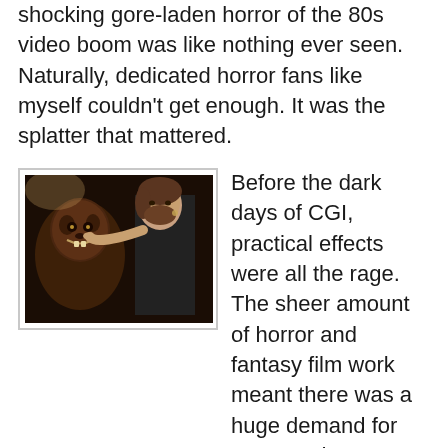shocking gore-laden horror of the 80s video boom was like nothing ever seen. Naturally, dedicated horror fans like myself couldn't get enough. It was the splatter that mattered.
[Figure (photo): A man with a beard poking the cheek of a werewolf/monster costume character, taken in a dark studio setting.]
Before the dark days of CGI, practical effects were all the rage. The sheer amount of horror and fantasy film work meant there was a huge demand for seasoned and hungry makeup magicians ready to provide gore, gore, and more gore. Artists like Dick Smith, Tom Savini, Stan Winston, Rick Baker, Tom Burman, Rob Bottin; and many others like Jill Rockow, Ed French, and Chris Biggs (makeup effects artist on SNDN2; pictured with his TEEN WOLF makeup in insert